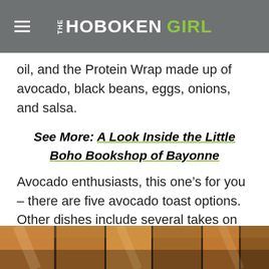THE HOBOKEN GIRL
oil, and the Protein Wrap made up of avocado, black beans, eggs, onions, and salsa.
See More: A Look Inside the Little Boho Bookshop of Bayonne
Avocado enthusiasts, this one’s for you – there are five avocado toast options. Other dishes include several takes on grilled cheese, omelets, pancakes, sandwiches, and classic breakfast platters.
[Figure (photo): Interior photo showing wooden panels and cafe/restaurant interior with warm brown tones]